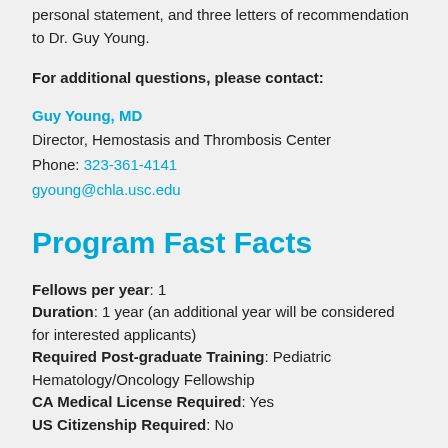personal statement, and three letters of recommendation to Dr. Guy Young.
For additional questions, please contact:
Guy Young, MD
Director, Hemostasis and Thrombosis Center
Phone: 323-361-4141
gyoung@chla.usc.edu
Program Fast Facts
Fellows per year: 1
Duration: 1 year (an additional year will be considered for interested applicants)
Required Post-graduate Training: Pediatric Hematology/Oncology Fellowship
CA Medical License Required: Yes
US Citizenship Required: No